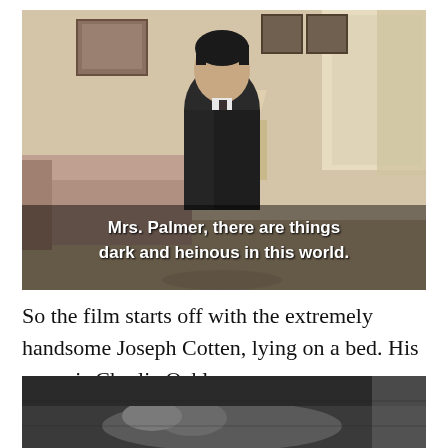[Figure (screenshot): A still from a TV show or film showing a man in a dark suit and tie sitting in a living room. White subtitle text reads: 'Mrs. Palmer, there are things dark and heinous in this world.']
So the film starts off with the extremely handsome Joseph Cotten, lying on a bed. His name is Charlie Oakley.
[Figure (screenshot): A black and white film still showing a figure lying on a bed, partially visible at the bottom of the page.]